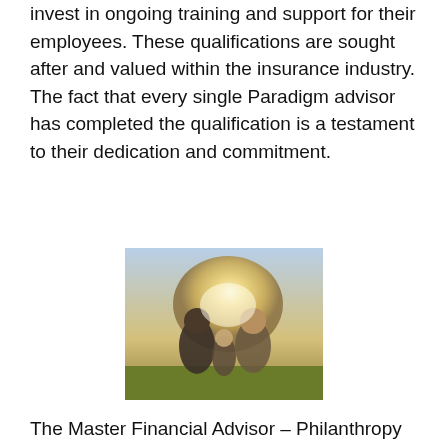invest in ongoing training and support for their employees. These qualifications are sought after and valued within the insurance industry. The fact that every single Paradigm advisor has completed the qualification is a testament to their dedication and commitment.
[Figure (photo): A family of three — two adults and a child — sitting together outdoors on grass with warm backlit sunlight, appearing to share a joyful moment.]
The Master Financial Advisor – Philanthropy program is designed for advisors seeking specialized professional credentials to develop plans with individuals and families interested in strategic philanthropy. This is an investment trend that is increasingly important to investors